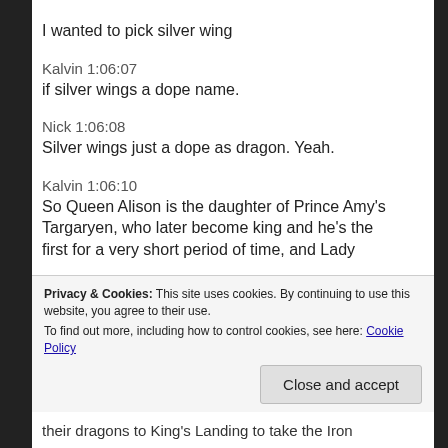I wanted to pick silver wing
Kalvin 1:06:07
if silver wings a dope name.
Nick 1:06:08
Silver wings just a dope as dragon. Yeah.
Kalvin 1:06:10
So Queen Alison is the daughter of Prince Amy's Targaryen, who later become king and he's the first for a very short period of time, and Lady
Privacy & Cookies: This site uses cookies. By continuing to use this website, you agree to their use.
To find out more, including how to control cookies, see here: Cookie Policy
Close and accept
their dragons to King's Landing to take the Iron